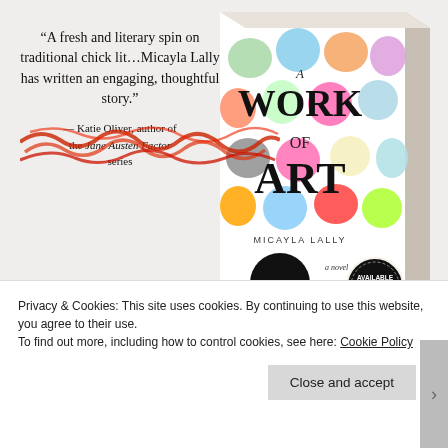[Figure (illustration): Book cover for 'A Work of Art' by Micayla Lally showing colorful watercolor dots on white background with black silhouette and an 'Available Now' badge, displayed in 3D perspective]
“A fresh and literary spin on traditional chick lit…Micayla Lally has written an engaging, thoughtful story.” — Katie Oliver, author of the Jane Austen Factor series
Privacy & Cookies: This site uses cookies. By continuing to use this website, you agree to their use. To find out more, including how to control cookies, see here: Cookie Policy
Close and accept